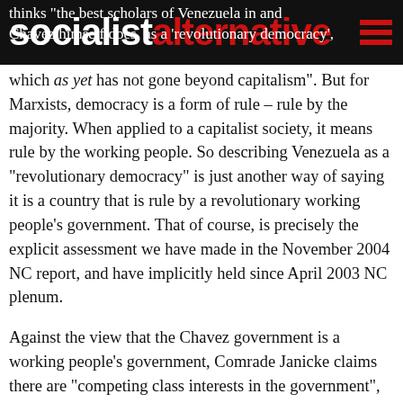socialistalternative
thinks "the best scholars of Venezuela in and Chavez himself does, as a 'revolutionary democracy', which as yet has not gone beyond capitalism". But for Marxists, democracy is a form of rule – rule by the majority. When applied to a capitalist society, it means rule by the working people. So describing Venezuela as a "revolutionary democracy" is just another way of saying it is a country that is rule by a revolutionary working people's government. That of course, is precisely the explicit assessment we have made in the November 2004 NC report, and have implicitly held since April 2003 NC plenum.
Against the view that the Chavez government is a working people's government, Comrade Janicke claims there are "competing class interests in the government", citing the "the conflicting positions on the question of cogestion between the Ministry of Energy and Mines